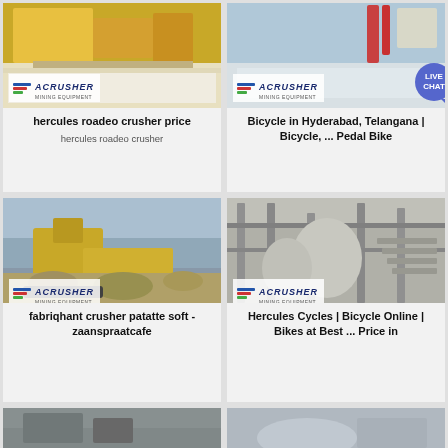[Figure (photo): Industrial crusher/mining equipment with yellow machinery, ACRUSHER logo overlay]
hercules roadeo crusher price
hercules roadeo crusher
[Figure (photo): Industrial equipment/port crane, ACRUSHER logo overlay, LIVE CHAT bubble]
Bicycle in Hyderabad, Telangana | Bicycle, ... Pedal Bike
[Figure (photo): Yellow mobile crusher machine on rocky ground, ACRUSHER logo overlay]
fabriqhant crusher patatte soft - zaanspraatcafe
[Figure (photo): Industrial facility interior with metal structures and stairs, ACRUSHER logo overlay]
Hercules Cycles | Bicycle Online | Bikes at Best ... Price in
[Figure (photo): Partial bottom-left image - machinery/equipment]
[Figure (photo): Partial bottom-right image - machinery/equipment]